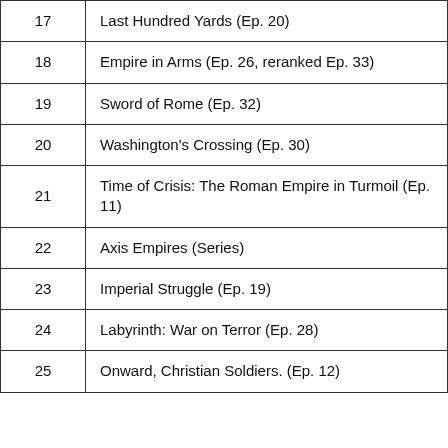| # | Title |
| --- | --- |
| 17 | Last Hundred Yards (Ep. 20) |
| 18 | Empire in Arms (Ep. 26, reranked Ep. 33) |
| 19 | Sword of Rome (Ep. 32) |
| 20 | Washington's Crossing (Ep. 30) |
| 21 | Time of Crisis: The Roman Empire in Turmoil (Ep. 11) |
| 22 | Axis Empires (Series) |
| 23 | Imperial Struggle (Ep. 19) |
| 24 | Labyrinth: War on Terror (Ep. 28) |
| 25 | Onward, Christian Soldiers. (Ep. 12) |